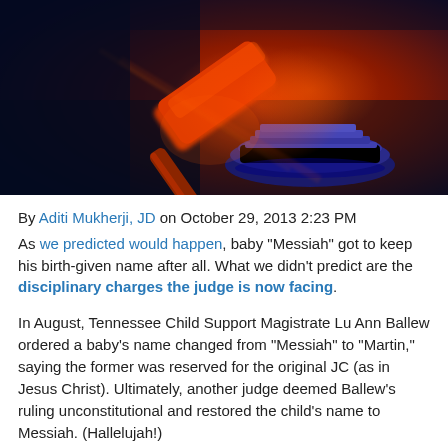[Figure (photo): A judge's gavel photographed under dramatic red and blue lighting, with motion blur suggesting movement. The gavel and its base are illuminated in warm orange-red against a deep blue background.]
By Aditi Mukherji, JD on October 29, 2013 2:23 PM
As we predicted would happen, baby "Messiah" got to keep his birth-given name after all. What we didn't predict are the disciplinary charges the judge is now facing.
In August, Tennessee Child Support Magistrate Lu Ann Ballew ordered a baby's name changed from "Messiah" to "Martin," saying the former was reserved for the original JC (as in Jesus Christ). Ultimately, another judge deemed Ballew's ruling unconstitutional and restored the child's name to Messiah. (Hallelujah!)